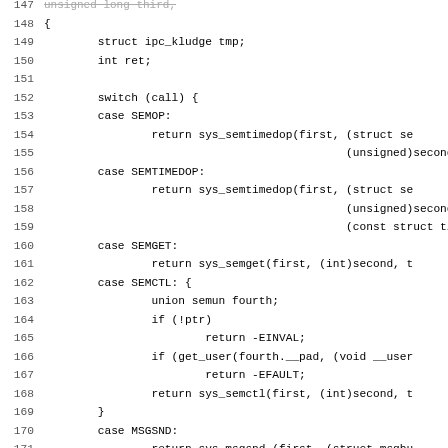[Figure (other): Source code listing in C, lines 147-179, showing a switch statement handling IPC system calls (SEMOP, SEMTIMEDOP, SEMGET, SEMCTL, MSGSND, MSGRCV) with line numbers on the left.]